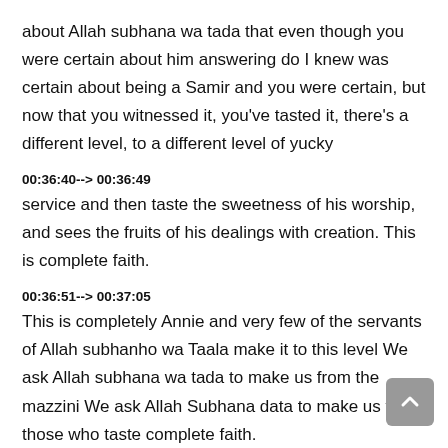about Allah subhana wa tada that even though you were certain about him answering do I knew was certain about being a Samir and you were certain, but now that you witnessed it, you've tasted it, there's a different level, to a different level of yucky
00:36:40--> 00:36:49
service and then taste the sweetness of his worship, and sees the fruits of his dealings with creation. This is complete faith.
00:36:51--> 00:37:05
This is completely Annie and very few of the servants of Allah subhanho wa Taala make it to this level We ask Allah subhana wa tada to make us from the mazzini We ask Allah Subhana data to make us from those who taste complete faith.